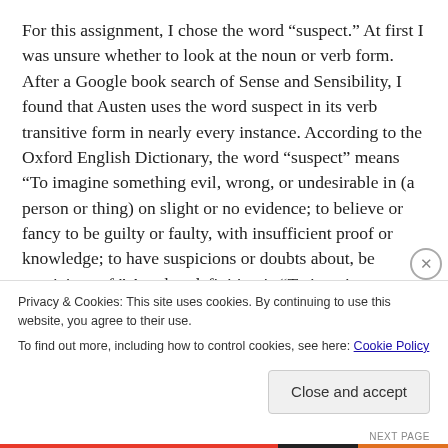For this assignment, I chose the word “suspect.” At first I was unsure whether to look at the noun or verb form. After a Google book search of Sense and Sensibility, I found that Austen uses the word suspect in its verb transitive form in nearly every instance. According to the Oxford English Dictionary, the word “suspect” means “To imagine something evil, wrong, or undesirable in (a person or thing) on slight or no evidence; to believe or fancy to be guilty or faulty, with insufficient proof or knowledge; to have suspicions or doubts about, be suspicious of.” Another definition is “To imagine or fancy something, esp. something wrong, about (a person or thing) with slight or no proof: with various const. expressing that which is so
Privacy & Cookies: This site uses cookies. By continuing to use this website, you agree to their use.
To find out more, including how to control cookies, see here: Cookie Policy